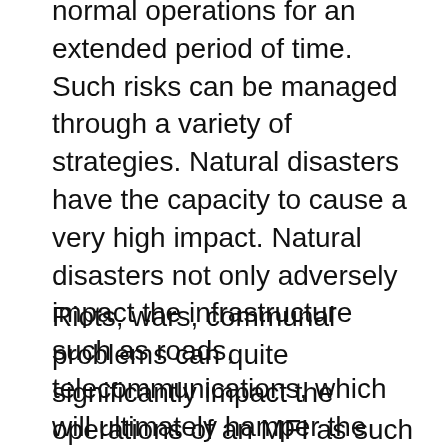normal operations for an extended period of time. Such risks can be managed through a variety of strategies. Natural disasters have the capacity to cause a very high impact. Natural disasters not only adversely impact the infrastructure such as roads, telecommunications, which will ultimately hamper the MFIs working. Even if a natural disaster has not affected the infrastructure of an MFI directly it may completely destroy client business, which will ultimately result in a loss for the MFI.
Riots, wars, communal problems can quite significantly impact the operations of an MFI as such situations may bring an MFI to a complete halt. Riots and other such situations